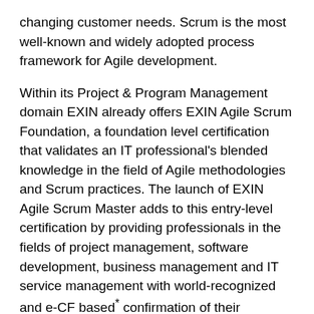changing customer needs. Scrum is the most well-known and widely adopted process framework for Agile development.
Within its Project & Program Management domain EXIN already offers EXIN Agile Scrum Foundation, a foundation level certification that validates an IT professional's blended knowledge in the field of Agile methodologies and Scrum practices. The launch of EXIN Agile Scrum Master adds to this entry-level certification by providing professionals in the fields of project management, software development, business management and IT service management with world-recognized and e-CF based* confirmation of their profound Agile Scrum knowledge and skills. The Master level certification is developed by EXIN's certification and exam experts, in joint cooperation with international high-profile specialists in the area of Agile